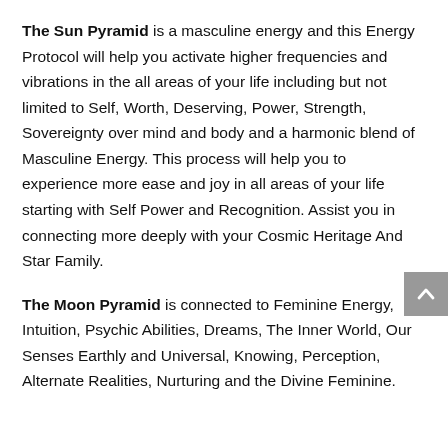The Sun Pyramid is a masculine energy and this Energy Protocol will help you activate higher frequencies and vibrations in the all areas of your life including but not limited to Self, Worth, Deserving, Power, Strength, Sovereignty over mind and body and a harmonic blend of Masculine Energy. This process will help you to experience more ease and joy in all areas of your life starting with Self Power and Recognition. Assist you in connecting more deeply with your Cosmic Heritage And Star Family.
The Moon Pyramid is connected to Feminine Energy, Intuition, Psychic Abilities, Dreams, The Inner World, Our Senses Earthly and Universal, Knowing, Perception, Alternate Realities, Nurturing and the Divine Feminine.